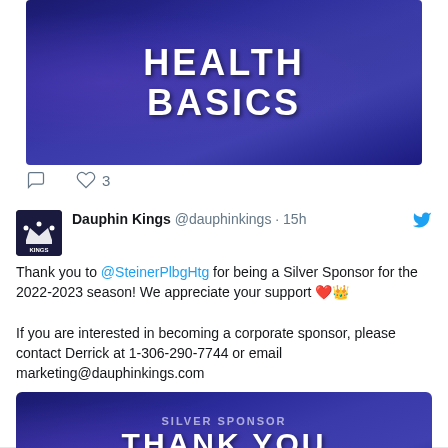[Figure (screenshot): Social media post image showing 'HEALTH BASICS' text on dark blue/purple background with decorative elements. Below it are reply and like icons with count '3'.]
[Figure (screenshot): Twitter/X post by Dauphin Kings (@dauphinkings) from 15h ago. Text: 'Thank you to @SteinerPlbgHtg for being a Silver Sponsor for the 2022-2023 season! We appreciate your support ❤️👑 If you are interested in becoming a corporate sponsor, please contact Derrick at 1-306-290-7744 or email marketing@dauphinkings.com'. Below is a 'THANK YOU' image on a dark blue background.]